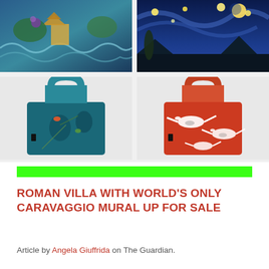[Figure (photo): Grid of four images: top-left shows Japanese art with waves and pagoda, top-right shows Van Gogh Starry Night, bottom-left shows a teal reusable tote bag with bird and nature pattern, bottom-right shows a red reusable tote bag with white crane pattern]
ROMAN VILLA WITH WORLD'S ONLY CARAVAGGIO MURAL UP FOR SALE
Article by Angela Giuffrida on The Guardian.